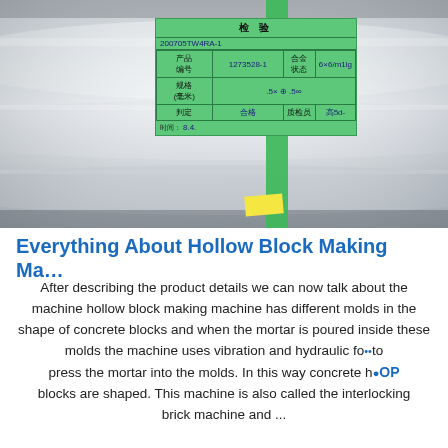[Figure (photo): Photo of a polished metal cylindrical tube/ring with a green inspection label card attached by a green plastic strap. The label card contains Chinese text headers '检验' (Inspection) and handwritten entries for product number (1273528-1), alloy status, measurements, and inspector signature. A yellow post-it note is partially visible.]
Everything About Hollow Block Making Ma…
After describing the product details we can now talk about the machine hollow block making machine has different molds in the shape of concrete blocks and when the mortar is poured inside these molds the machine uses vibration and hydraulic force to press the mortar into the molds. In this way concrete hollow blocks are shaped. This machine is also called the interlocking brick machine and ...